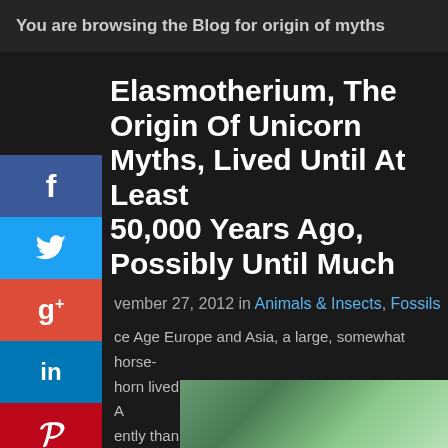You are browsing the Blog for origin of myths
Elasmotherium, The Origin Of Unicorn Myths, Lived Until At Least 50,000 Years Ago, Possibly Until Much More Recently
November 27, 2012 in Animals & Insects, Fossils
Ice Age Europe and Asia, a large, somewhat horse-like animal with a single large horn lived until at least as recently as 50,000 BP. And possibly more recently than that. The likely origin of the 'unicorn' myth — these animals would have been in contact with humans. Now long extinct, the memory of their existence has persisted.
[Figure (photo): Partial thumbnail of an outdoor nature/forest photo at the bottom of the page]